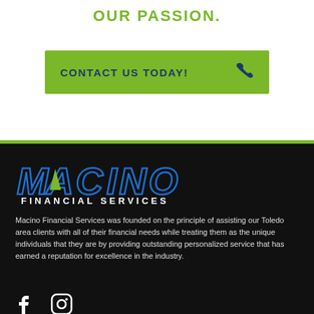OUR PASSION.
CONTACT US TODAY!
[Figure (logo): Macino Financial Services logo with large bold italic blue outlined MACINO text with green triangle accent and white FINANCIAL SERVICES subtitle]
Macino Financial Services was founded on the principle of assisting our Toledo area clients with all of their financial needs while treating them as the unique individuals that they are by providing outstanding personalized service that has earned a reputation for excellence in the industry.
[Figure (illustration): Social media icons: Facebook and Instagram icons in white at bottom of dark footer]